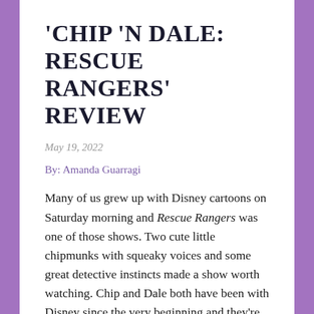'CHIP 'N DALE: RESCUE RANGERS' REVIEW
May 19, 2022
By: Amanda Guarragi
Many of us grew up with Disney cartoons on Saturday morning and Rescue Rangers was one of those shows. Two cute little chipmunks with squeaky voices and some great detective instincts made a show worth watching. Chip and Dale both have been with Disney since the very beginning and they're almost on the level of Donald, Mickey, and Pluto. Even if you haven't heard the theme song in a while, once you hear it in Chip n' Dale: Rescue Rangers all those memories come back in an